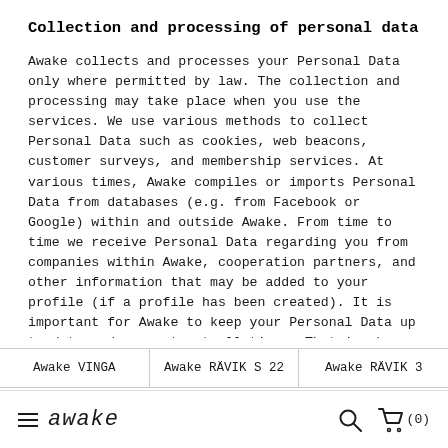Collection and processing of personal data
Awake collects and processes your Personal Data only where permitted by law. The collection and processing may take place when you use the services. We use various methods to collect Personal Data such as cookies, web beacons, customer surveys, and membership services. At various times, Awake compiles or imports Personal Data from databases (e.g. from Facebook or Google) within and outside Awake. From time to time we receive Personal Data regarding you from companies within Awake, cooperation partners, and other information that may be added to your profile (if a profile has been created). It is important for Awake to keep your Personal Data up to date and accurate at all times. That is why we may import Personal Data about you from external sources such as public registers. When the law requires that consent be obtained for the processing of certain types of Personal Data or for certain forms of processing, consent will
Awake VINGA | Awake RÄVIK S 22 | Awake RÄVIK 3